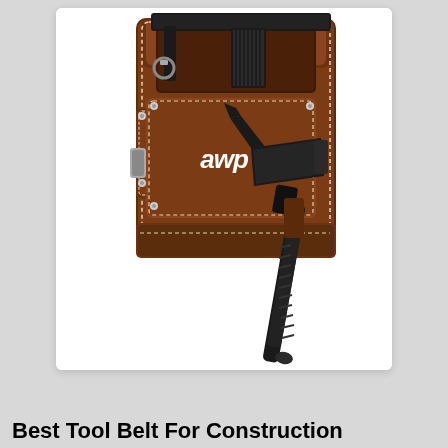[Figure (photo): A brown leather AWP tool belt/pouch with multiple pockets filled with tools including a utility knife and tape measure, with a black claw hammer inserted into a side loop, photographed on a white background.]
Best Tool Belt For Construction